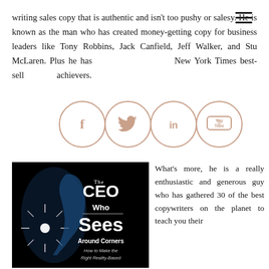[Figure (other): Hamburger menu icon (three horizontal lines) in top-right corner]
writing sales copy that is authentic and isn't too pushy or salesy. He is known as the man who has created money-getting copy for business leaders like Tony Robbins, Jack Canfield, Jeff Walker, and Stu McLaren. Plus he has [social icons overlay] New York Times best-sell[ing] [book] or [multiple] achievers.
[Figure (illustration): Four social media circular icons: Facebook (f), Twitter (bird), LinkedIn (in), YouTube (You Tube play button) — outlined circles in muted rose/brown]
[Figure (photo): Book cover: 'The CEO Who Sees Around Corners — How to Make the Right Reality-Based...' on dark/black background with a profile silhouette of a face lit with blue light and a starburst light effect]
What's more, he is a really enthusiastic and generous guy who has gathered 30 of the best copywriters on the planet to teach you their